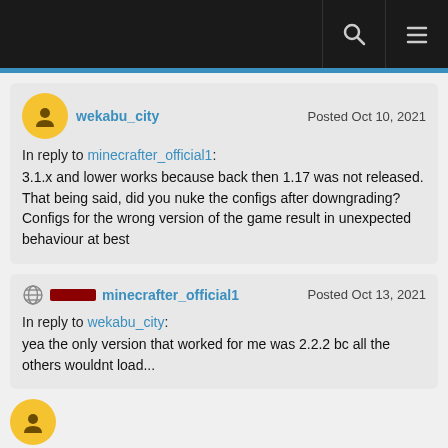Navigation bar with search and menu icons
wekabu_city — Posted Oct 10, 2021
In reply to minecrafter_official1:
 3.1.x and lower works because back then 1.17 was not released. That being said, did you nuke the configs after downgrading? Configs for the wrong version of the game result in unexpected behaviour at best
minecrafter_official1 — Posted Oct 13, 2021
In reply to wekabu_city:
 yea the only version that worked for me was 2.2.2 bc all the others wouldnt load...